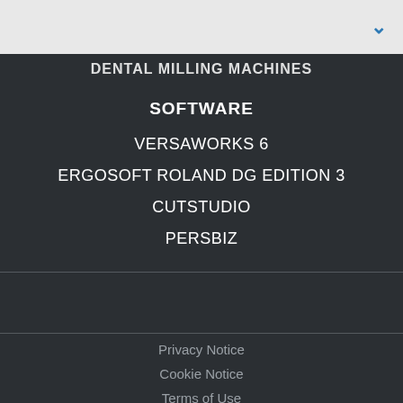DENTAL MILLING MACHINES
SOFTWARE
VERSAWORKS 6
ERGOSOFT ROLAND DG EDITION 3
CUTSTUDIO
PERSBIZ
Privacy Notice
Cookie Notice
Terms of Use